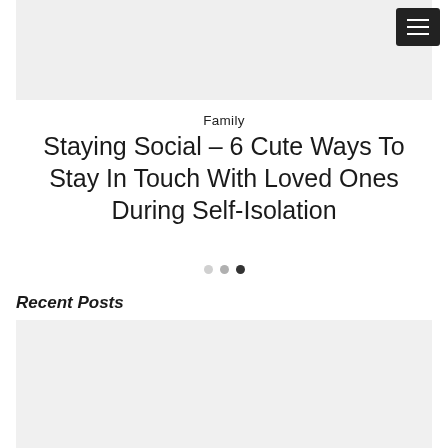[Figure (screenshot): Hamburger menu button (dark background with three white lines) in the top-right corner]
[Figure (photo): Gray placeholder hero image at the top of the page]
Family
Staying Social – 6 Cute Ways To Stay In Touch With Loved Ones During Self-Isolation
[Figure (other): Three dots carousel indicator: two light gray dots and one dark dot]
Recent Posts
[Figure (other): Recent post card placeholder with 'No Featured Image' text in serif bold font on light gray background, with a scroll-to-top button]